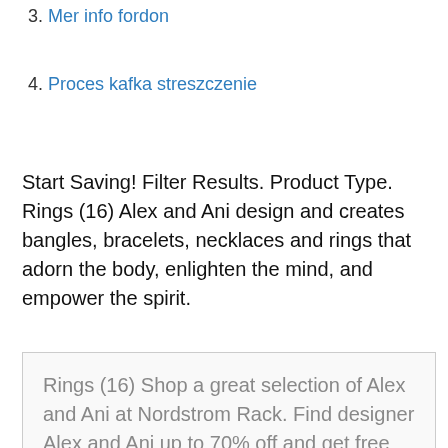3. Mer info fordon
4. Proces kafka streszczenie
Start Saving! Filter Results. Product Type. Rings (16) Alex and Ani design and creates bangles, bracelets, necklaces and rings that adorn the body, enlighten the mind, and empower the spirit.
Rings (16) Shop a great selection of Alex and Ani at Nordstrom Rack. Find designer Alex and Ani up to 70% off and get free shipping on orders over $89.
Properties For Sale, For